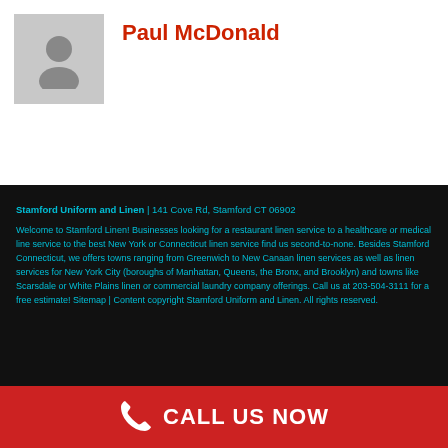[Figure (illustration): Generic person/avatar silhouette icon on a light grey square background]
Paul McDonald
Stamford Uniform and Linen | 141 Cove Rd, Stamford CT 06902
Welcome to Stamford Linen! Businesses looking for a restaurant linen service to a healthcare or medical line service to the best New York or Connecticut linen service find us second-to-none. Besides Stamford Connecticut, we offers towns ranging from Greenwich to New Canaan linen services as well as linen services for New York City (boroughs of Manhattan, Queens, the Bronx, and Brooklyn) and towns like Scarsdale or White Plains linen or commercial laundry company offerings. Call us at 203-504-3111 for a free estimate! Sitemap | Content copyright Stamford Uniform and Linen. All rights reserved.
CALL US NOW